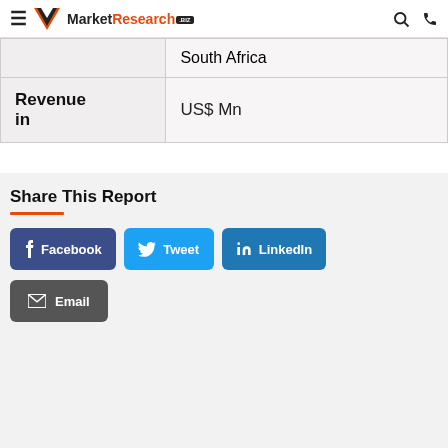MarketResearch.biz
|  | South Africa |
| Revenue in | US$ Mn |
Share This Report
Facebook  Tweet  LinkedIn  Email